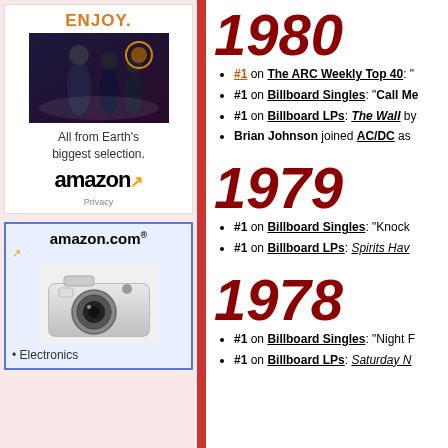[Figure (advertisement): Amazon advertisement with 'ENJOY.' text, Star Trek Discovery movie image, 'All from Earth's biggest selection.' tagline, Amazon logo with orange arrow, Privacy link]
[Figure (advertisement): Amazon.com advertisement with camera image and 'Electronics' bullet point]
1980
#1 on The ARC Weekly Top 40: "...
#1 on Billboard Singles: "Call Me...
#1 on Billboard LPs: The Wall by...
Brian Johnson joined AC/DC as...
1979
#1 on Billboard Singles: "Knock...
#1 on Billboard LPs: Spirits Hav...
1978
#1 on Billboard Singles: "Night F...
#1 on Billboard LPs: Saturday N...